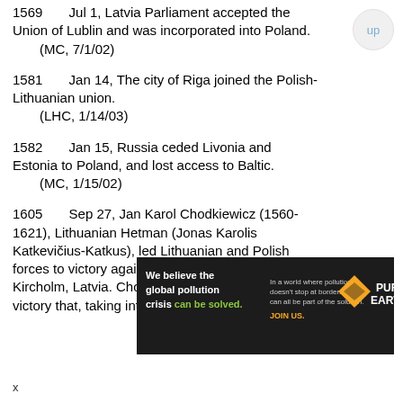1569   Jul 1, Latvia Parliament accepted the Union of Lublin and was incorporated into Poland.
    (MC, 7/1/02)
1581   Jan 14, The city of Riga joined the Polish-Lithuanian union.
    (LHC, 1/14/03)
1582   Jan 15, Russia ceded Livonia and Estonia to Poland, and lost access to Baltic.
    (MC, 1/15/02)
1605   Sep 27, Jan Karol Chodkiewicz (1560-1621), Lithuanian Hetman (Jonas Karolis Katkevičius-Katkus), led Lithuanian and Polish forces to victory against a Swedish army at Kircholme, Latvia. Chodkiewicz carried the day in a victory that, taking into account the disparity of
[Figure (infographic): Pure Earth advertisement banner: 'We believe the global pollution crisis can be solved.' with JOIN US call to action and Pure Earth logo]
x